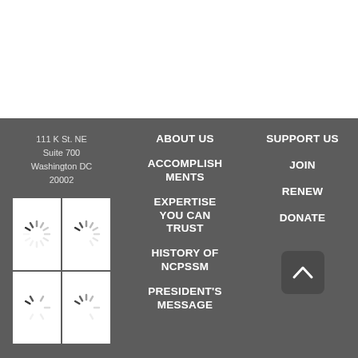111 K St. NE
Suite 700
Washington DC 20002
ABOUT US
SUPPORT US
ACCOMPLISHMENTS
JOIN
RENEW
EXPERTISE YOU CAN TRUST
DONATE
HISTORY OF NCPSSM
PRESIDENT'S MESSAGE
[Figure (other): Loading spinner icons in a 2x2 grid (white background cells)]
[Figure (other): Back to top button with upward chevron]